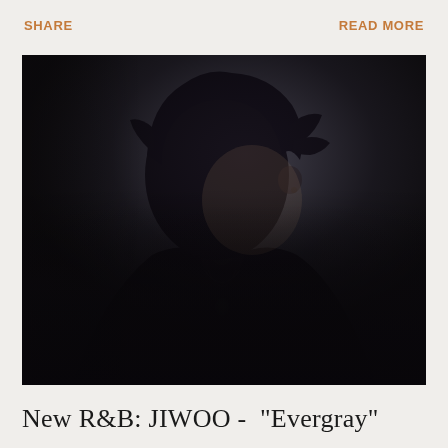SHARE    READ MORE
[Figure (photo): Dark artistic portrait of JIWOO, a person with dark hair in profile/three-quarter view, wearing a black jacket and a green pendant necklace, against a gray studio background. The face is in shadow/silhouette.]
New R&B: JIWOO - "Evergray"